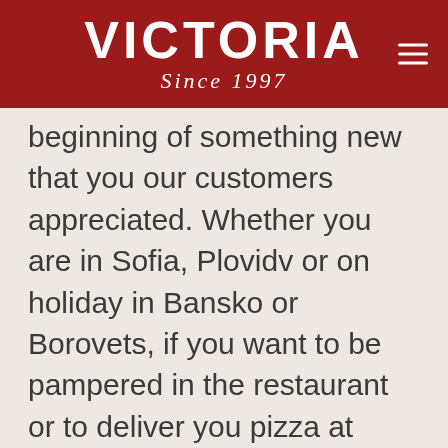VICTORIA Since 1997
beginning of something new that you our customers appreciated. Whether you are in Sofia, Plovidv or on holiday in Bansko or Borovets, if you want to be pampered in the restaurant or to deliver you pizza at home, you remain our most important guest.
For its 15th birthday restaurant chain VICTORIA, open doors on